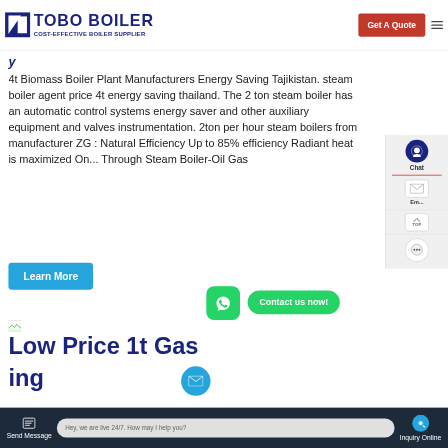TOBO BOILER - COST-EFFECTIVE BOILER SUPPLIER | Get A Quote
y
4t Biomass Boiler Plant Manufacturers Energy Saving Tajikistan. steam boiler agent price 4t energy saving thailand. The 2 ton steam boiler has an automatic control systems energy saver and other auxiliary equipment and valves instrumentation. 2ton per hour steam boilers from manufacturer ZG : Natural Efficiency Up to 85% efficiency Radiant heat is maximized On... Through Steam Boiler-Oil Gas
[Figure (screenshot): Learn More button (blue), WhatsApp icon (green rounded square), Contact us now! button (green)]
[Figure (screenshot): Right sidebar with Chat icon, Email icon, TOP button, and chat bubble icon]
Low Price 1t Gas
Send Message | Hey, we are live 24/7. How may I help you? | Inquiry Online